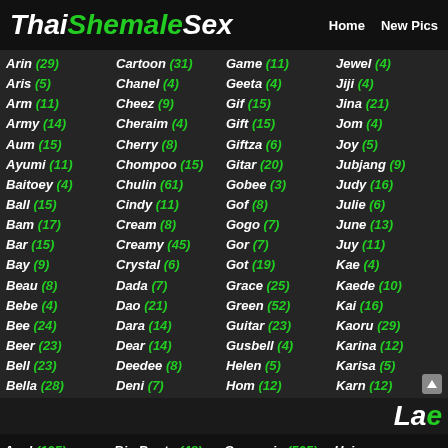ThaiShemaleSex | Home | New Pics
Arin (29), Aris (5), Arm (11), Army (14), Aum (15), Ayumi (11), Baitoey (4), Ball (15), Bam (17), Bar (15), Bay (9), Beau (8), Bebe (4), Bee (24), Beer (23), Bell (23), Bella (28)
Cartoon (31), Chanel (4), Cheez (9), Cheraim (4), Cherry (8), Chompoo (15), Chulin (61), Cindy (11), Cream (8), Creamy (45), Crystal (6), Dada (7), Dao (21), Dara (14), Dear (14), Deedee (8), Deni (7)
Game (11), Geeta (4), Gif (15), Gift (15), Giftza (6), Gitar (20), Gobee (3), Gof (8), Gogo (7), Gor (7), Got (19), Grace (25), Green (52), Guitar (23), Gusbell (4), Helen (5), Hom (12)
Jewel (4), Jiji (4), Jina (21), Jom (4), Joy (5), Jubjang (9), Judy (16), Julie (6), June (13), Juy (11), Kae (4), Kaede (10), Kai (16), Kaoru (29), Karina (12), Karisa (5), Karn (12)
La...
Anal (195) | Big Booty (48) | Creampie (505) | Hair...